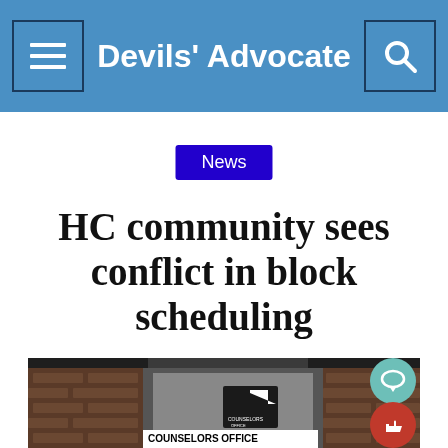Devils' Advocate
News
HC community sees conflict in block scheduling
[Figure (photo): Photo of a school hallway with brick walls showing a sign pointing up labeled 'COUNSELORS OFFICE']